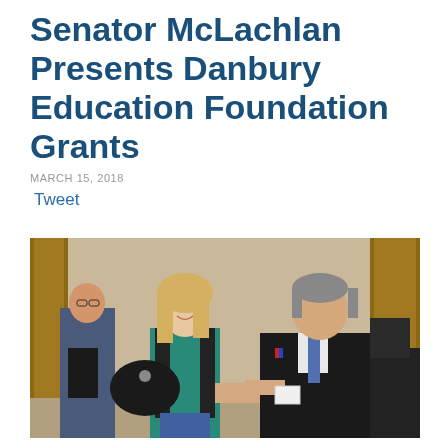Senator McLachlan Presents Danbury Education Foundation Grants
MARCH 15, 2018
Tweet
[Figure (photo): Senator McLachlan shaking hands with a blonde woman in a teal shirt and black vest, exchanging a document/check. A young boy is visible in the background. The setting appears to be an indoor meeting room.]